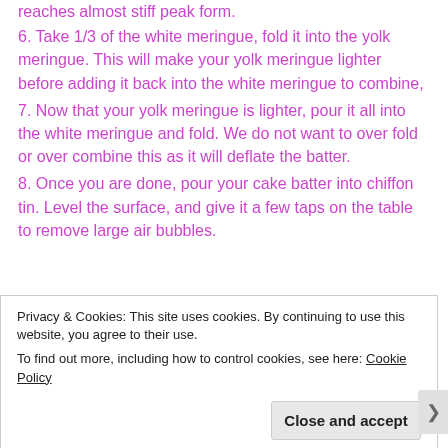reaches almost stiff peak form.
6. Take 1/3 of the white meringue, fold it into the yolk meringue. This will make your yolk meringue lighter before adding it back into the white meringue to combine,
7. Now that your yolk meringue is lighter, pour it all into the white meringue and fold. We do not want to over fold or over combine this as it will deflate the batter.
8. Once you are done, pour your cake batter into chiffon tin. Level the surface, and give it a few taps on the table to remove large air bubbles.
Privacy & Cookies: This site uses cookies. By continuing to use this website, you agree to their use.
To find out more, including how to control cookies, see here: Cookie Policy
Close and accept